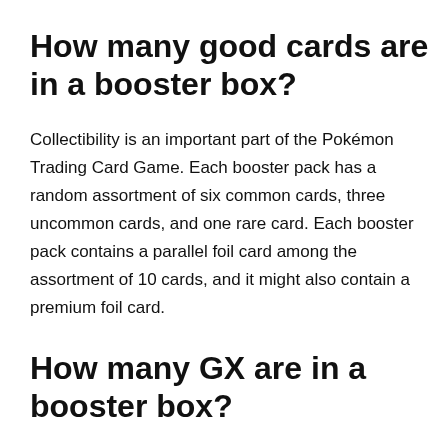How many good cards are in a booster box?
Collectibility is an important part of the Pokémon Trading Card Game. Each booster pack has a random assortment of six common cards, three uncommon cards, and one rare card. Each booster pack contains a parallel foil card among the assortment of 10 cards, and it might also contain a premium foil card.
How many GX are in a booster box?
Golden Groundhog TCG Deck Box Including 200 Assorted Cards (3 GX Ultra Rares, 4 Rare Cards, 3 Holographics, 90